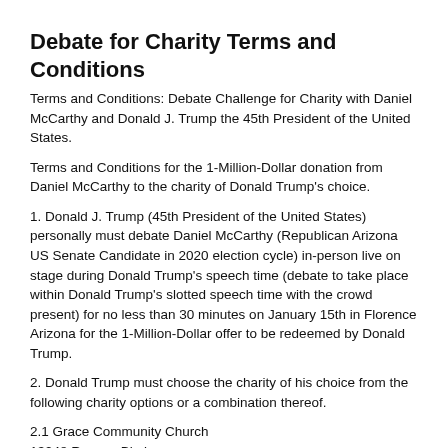Debate for Charity Terms and Conditions
Terms and Conditions: Debate Challenge for Charity with Daniel McCarthy and Donald J. Trump the 45th President of the United States.
Terms and Conditions for the 1-Million-Dollar donation from Daniel McCarthy to the charity of Donald Trump's choice.
1. Donald J. Trump (45th President of the United States) personally must debate Daniel McCarthy (Republican Arizona US Senate Candidate in 2020 election cycle) in-person live on stage during Donald Trump's speech time (debate to take place within Donald Trump's slotted speech time with the crowd present) for no less than 30 minutes on January 15th in Florence Arizona for the 1-Million-Dollar offer to be redeemed by Donald Trump.
2. Donald Trump must choose the charity of his choice from the following charity options or a combination thereof.
2.1 Grace Community Church
13248 Roscoe Blvd.
Sun Valley, CA 91352
2.2 Veterans For Child R...